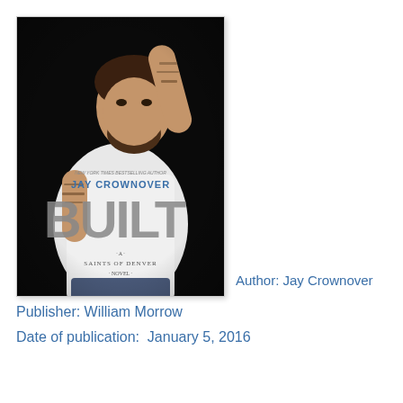[Figure (photo): Book cover of 'Built' by Jay Crownover. Shows a tattooed bearded man in a white t-shirt against a black background. The cover reads 'New York Times Bestselling Author Jay Crownover BUILT A Saints of Denver Novel'.]
Author: Jay Crownover
Publisher: William Morrow
Date of publication:  January 5, 2016